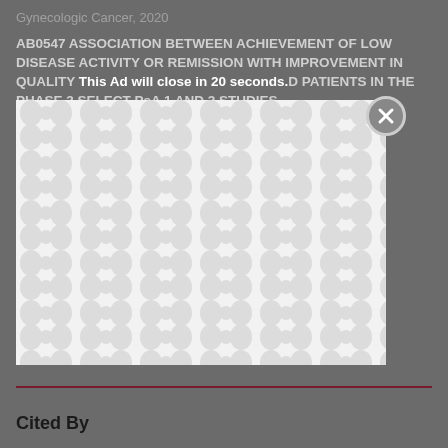Gynecologic Cancer, 2020
AB0547 ASSOCIATION BETWEEN ACHIEVEMENT OF LOW DISEASE ACTIVITY OR REMISSION WITH IMPROVEMENT IN QUALITY OF LIFE IN BIOLOGIC-EXPERIENCED PATIENTS IN THE PHASE 3 SELECT-PsA 1 AND 2 STUDIES
[Figure (other): Advertisement overlay with close button (X) and decorative blob pattern background. Ad countdown text reads 'This Ad will close in 20 seconds.']
Cited By